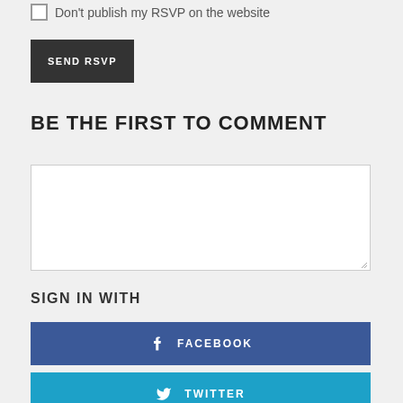Don't publish my RSVP on the website
SEND RSVP
BE THE FIRST TO COMMENT
SIGN IN WITH
FACEBOOK
TWITTER